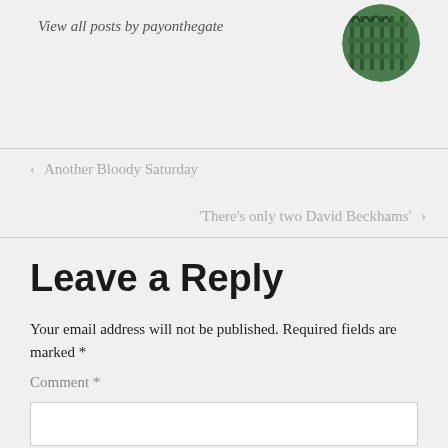View all posts by payonthegate
[Figure (photo): Circular avatar image showing green metal gate/fence structure]
‹  Another Bloody Saturday
'There's only two David Beckhams'  ›
Leave a Reply
Your email address will not be published. Required fields are marked *
Comment *